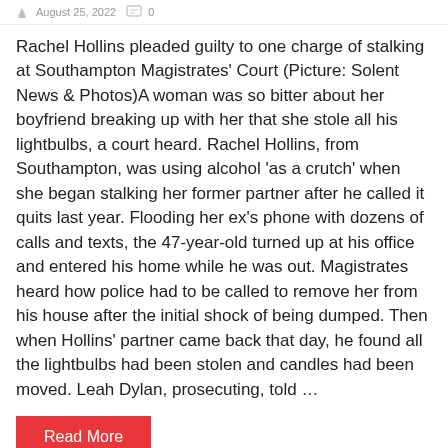August 25, 2022  0
Rachel Hollins pleaded guilty to one charge of stalking at Southampton Magistrates' Court (Picture: Solent News & Photos)A woman was so bitter about her boyfriend breaking up with her that she stole all his lightbulbs, a court heard. Rachel Hollins, from Southampton, was using alcohol 'as a crutch' when she began stalking her former partner after he called it quits last year. Flooding her ex's phone with dozens of calls and texts, the 47-year-old turned up at his office and entered his home while he was out. Magistrates heard how police had to be called to remove her from his house after the initial shock of being dumped. Then when Hollins' partner came back that day, he found all the lightbulbs had been stolen and candles had been moved. Leah Dylan, prosecuting, told …
Read More
WORLD
(Read life) A bl...